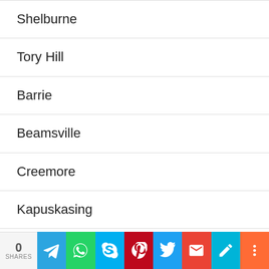Shelburne
Tory Hill
Barrie
Beamsville
Creemore
Kapuskasing
Mount Brydges
New Hamburg
Newtonville
Rodney